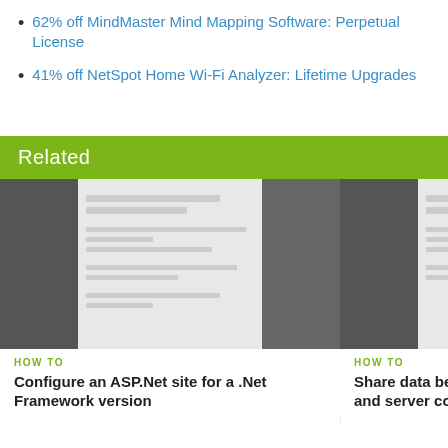62% off MindMaster Mind Mapping Software: Perpetual License
41% off NetSpot Home Wi-Fi Analyzer: Lifetime Upgrades
Related
[Figure (screenshot): Screenshot thumbnail of a web interface or IDE, used as related article card image for 'Configure an ASP.Net site for a .Net Framework version']
HOW TO
Configure an ASP.Net site for a .Net Framework version
[Figure (screenshot): Screenshot thumbnail of a web interface, used as related article card image for 'Share data between client and server code']
HOW TO
Share data between client and server code
Be the First to Comment